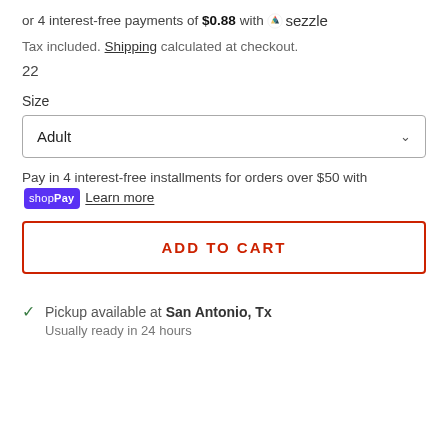or 4 interest-free payments of $0.88 with sezzle
Tax included. Shipping calculated at checkout.
22
Size
Adult
Pay in 4 interest-free installments for orders over $50 with shop Pay Learn more
ADD TO CART
Pickup available at San Antonio, Tx Usually ready in 24 hours